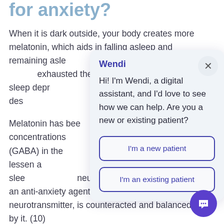for anxiety?
When it is dark outside, your body creates more melatonin, which aids in falling asleep and remaining asleep. Sleep deprivation may lead to feeling exhausted the next day, and chronic sleep deprivation can lead to anxiety and depression.
Melatonin has been shown to increase the concentrations of gamma-aminobutyric acid (GABA) in the brain, potentially helping to lessen anxiety by promoting a good night's sleep. GABA is a neurotransmitter that acts as an anti-anxiety agent. Glutamate, an activating neurotransmitter, is counteracted and balanced by it. (10)
[Figure (screenshot): Chat popup overlay with Wendi digital assistant. Header shows 'Wendi' in bold blue, with close X button. Message reads: 'Hi! I'm Wendi, a digital assistant, and I'd love to see how we can help. Are you a new or existing patient?' Two buttons: 'I'm a new patient' and 'I'm an existing patient'. Purple floating chat FAB button in lower right.]